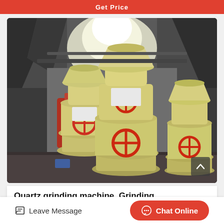Get Price
[Figure (photo): Industrial quartz grinding mill machines (Raymond mills) in a factory setting. Multiple cream/yellow colored cylindrical grinding mill units with orange circular safety covers and hatches, metal framework overhead, industrial building interior with skylights.]
Quartz grinding machine, Grinding
Leave Message
Chat Online